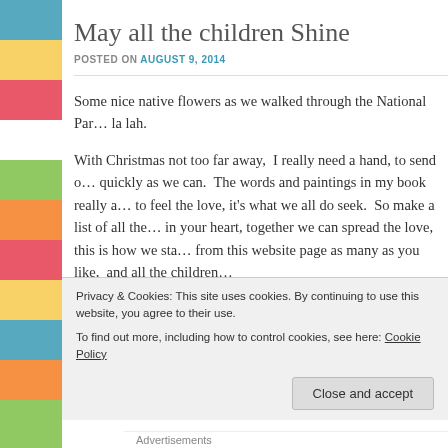[Figure (illustration): Decorative floral patterned sidebar on the left edge with colorful blocks of teal, yellow, red, green, and orange]
May all the children Shine
POSTED ON AUGUST 9, 2014
Some nice native flowers as we walked through the National Par… la lah.
With Christmas not too far away,  I really need a hand, to send o… quickly as we can.  The words and paintings in my book really a… to feel the love, it's what we all do seek.  So make a list of all the… in your heart, together we can spread the love, this is how we sta… from this website page as many as you like,  and all the children…
Privacy & Cookies: This site uses cookies. By continuing to use this website, you agree to their use.
To find out more, including how to control cookies, see here: Cookie Policy
Close and accept
Advertisements